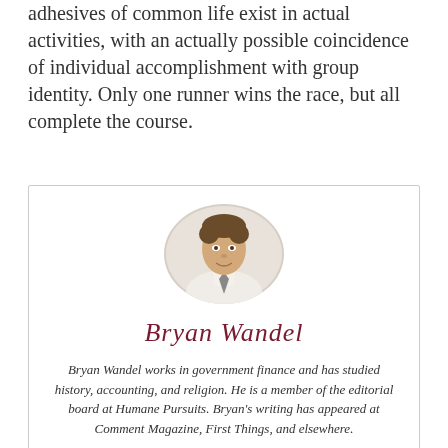adhesives of common life exist in actual activities, with an actually possible coincidence of individual accomplishment with group identity. Only one runner wins the race, but all complete the course.
[Figure (photo): Oval portrait photo of Bryan Wandel, a young man in a white shirt and tie, smiling]
Bryan Wandel
Bryan Wandel works in government finance and has studied history, accounting, and religion. He is a member of the editorial board at Humane Pursuits. Bryan's writing has appeared at Comment Magazine, First Things, and elsewhere.